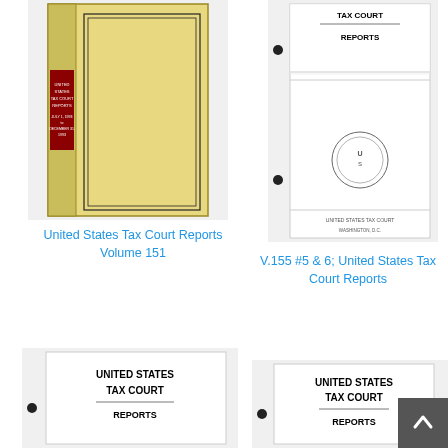[Figure (photo): United States Tax Court Reports Volume 151 book cover - yellowish hardcover with red spine label]
[Figure (photo): V.155 #5 & 6 United States Tax Court Reports pamphlet cover - white with US seal]
United States Tax Court Reports Volume 151
V.155 #5 & 6; United States Tax Court Reports
[Figure (photo): United States Tax Court Reports pamphlet cover - white, bottom left]
[Figure (photo): United States Tax Court Reports pamphlet cover - white, bottom right]